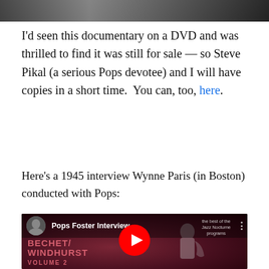[Figure (photo): Black and white photo at the top of the page, partially cut off — shows people in dark clothing]
I'd seen this documentary on a DVD and was thrilled to find it was still for sale — so Steve Pikal (a serious Pops devotee) and I will have copies in a short time.  You can, too, here.
Here's a 1945 interview Wynne Paris (in Boston) conducted with Pops:
[Figure (screenshot): YouTube video embed thumbnail showing 'Pops Foster Interview' with a dark red/maroon background. An image of a jazz musician playing a saxophone is visible. Text reads 'the best of the Jazz Nocturne programs' and 'BECHET/WINDHURST VOLUME 2'. A red YouTube play button is centered on the thumbnail.]